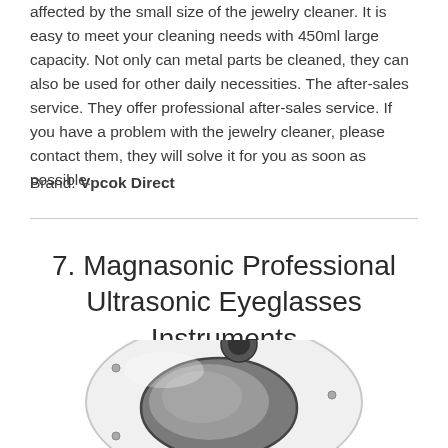affected by the small size of the jewelry cleaner. It is easy to meet your cleaning needs with 450ml large capacity. Not only can metal parts be cleaned, they can also be used for other daily necessities. The after-sales service. They offer professional after-sales service. If you have a problem with the jewelry cleaner, please contact them, they will solve it for you as soon as possible.
Brand: Vpcok Direct
7. Magnasonic Professional Ultrasonic Eyeglasses Instruments
[Figure (photo): Photo of Magnasonic Professional Ultrasonic Eyeglasses cleaner device — a white oval-shaped unit with a dark oval cleaning basin in the center, small screws visible on the casing, and a dark circular element at the top.]